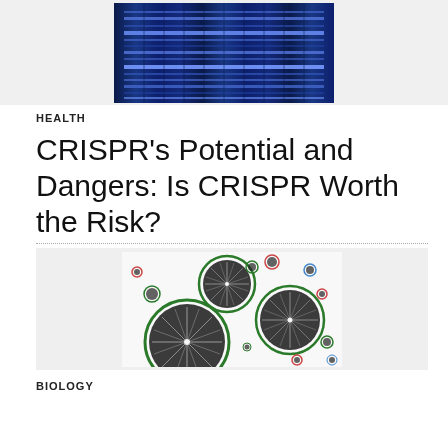[Figure (photo): DNA gel electrophoresis image showing blue-toned bands on a gel, multiple vertical lanes with horizontal bands of varying intensity]
HEALTH
CRISPR's Potential and Dangers: Is CRISPR Worth the Risk?
[Figure (photo): Microscopy illustration of circular cells or bacterial colonies with green and red outlines on a white background, resembling radially-symmetrical organisms]
BIOLOGY